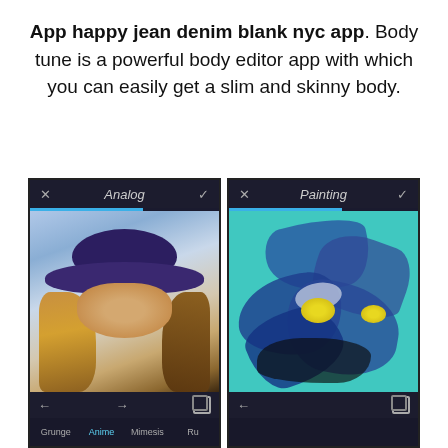App happy jean denim blank nyc app. Body tune is a powerful body editor app with which you can easily get a slim and skinny body.
[Figure (screenshot): Two mobile app screenshots side by side. Left shows 'Analog' filter applied to a photo of a young woman wearing a wide-brimmed purple hat with long blonde hair, soft blue-gray background. Right shows 'Painting' filter applied to an artistic image of blue flowers on a teal/turquoise background with black ink-style elements at the bottom. Both screens show navigation bars with X and checkmark icons at top, and filter options at the bottom.]